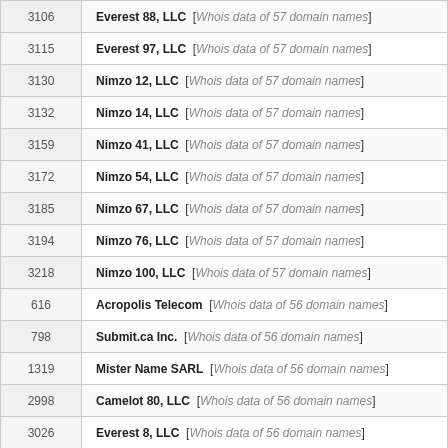| ID | Name |
| --- | --- |
| 3106 | Everest 88, LLC  [Whois data of 57 domain names] |
| 3115 | Everest 97, LLC  [Whois data of 57 domain names] |
| 3130 | Nimzo 12, LLC  [Whois data of 57 domain names] |
| 3132 | Nimzo 14, LLC  [Whois data of 57 domain names] |
| 3159 | Nimzo 41, LLC  [Whois data of 57 domain names] |
| 3172 | Nimzo 54, LLC  [Whois data of 57 domain names] |
| 3185 | Nimzo 67, LLC  [Whois data of 57 domain names] |
| 3194 | Nimzo 76, LLC  [Whois data of 57 domain names] |
| 3218 | Nimzo 100, LLC  [Whois data of 57 domain names] |
| 616 | Acropolis Telecom  [Whois data of 56 domain names] |
| 798 | Submit.ca Inc.  [Whois data of 56 domain names] |
| 1319 | Mister Name SARL  [Whois data of 56 domain names] |
| 2998 | Camelot 80, LLC  [Whois data of 56 domain names] |
| 3026 | Everest 8, LLC  [Whois data of 56 domain names] |